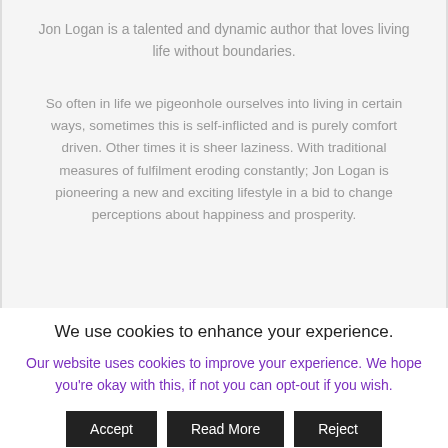Jon Logan is a talented and dynamic author that loves living life without boundaries.
So often in life we pigeonhole ourselves into living in certain ways, sometimes this is self-inflicted and is purely comfort driven. Other times it is sheer laziness. With traditional measures of fulfilment eroding constantly; Jon Logan is pioneering a new and exciting lifestyle in a bid to change perceptions about happiness and prosperity.
We use cookies to enhance your experience.
Our website uses cookies to improve your experience. We hope you're okay with this, if not you can opt-out if you wish.
Accept
Read More
Reject